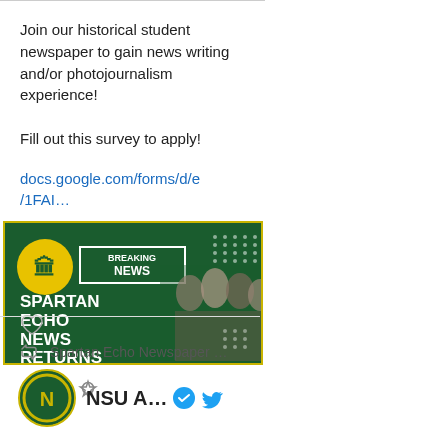Join our historical student newspaper to gain news writing and/or photojournalism experience!

Fill out this survey to apply!
docs.google.com/forms/d/e/1FAI…
[Figure (photo): Dark green banner image with 'Breaking News' label, bold text reading 'SPARTAN ECHO NEWS RETURNS', yellow accent circle, and a group of young people looking at a TV screen on the right side.]
Spartan Echo Newspaper ...
NSU A...